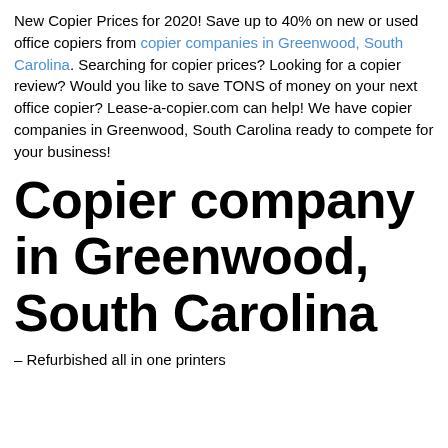New Copier Prices for 2020! Save up to 40% on new or used office copiers from copier companies in Greenwood, South Carolina. Searching for copier prices? Looking for a copier review? Would you like to save TONS of money on your next office copier? Lease-a-copier.com can help! We have copier companies in Greenwood, South Carolina ready to compete for your business!
Copier company in Greenwood, South Carolina
– Refurbished all in one printers